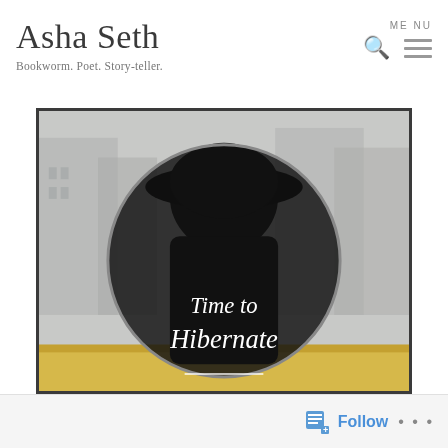Asha Seth — Bookworm. Poet. Story-teller.
[Figure (photo): A blog post cover image showing a person from behind with a dark wide-brimmed hat, sitting against a snowy winter outdoor scene visible through a window. A dark circular overlay with italic white text reads 'Time to Hibernate'. The image has a dark border frame.]
Follow  •••